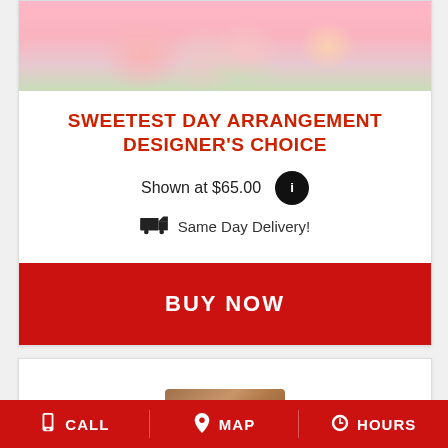[Figure (photo): Floral arrangement photo showing pink and peach flowers with green leaves on a pink background - top portion visible]
SWEETEST DAY ARRANGEMENT DESIGNER'S CHOICE
Shown at $65.00
Same Day Delivery!
BUY NOW
[Figure (photo): Partially visible product image at bottom - appears to be chocolate or gift box]
CALL   MAP   HOURS